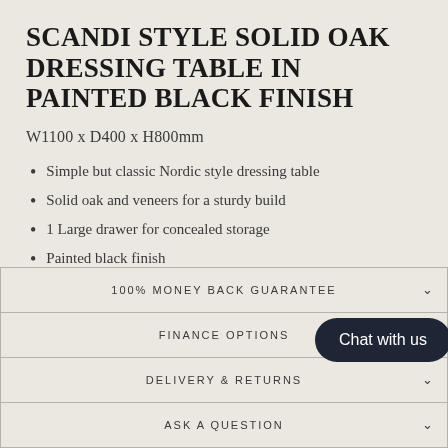SCANDI STYLE SOLID OAK DRESSING TABLE IN PAINTED BLACK FINISH
W1100 x D400 x H800mm
Simple but classic Nordic style dressing table
Solid oak and veneers for a sturdy build
1 Large drawer for concealed storage
Painted black finish
100% MONEY BACK GUARANTEE
FINANCE OPTIONS
DELIVERY & RETURNS
ASK A QUESTION
Chat with us